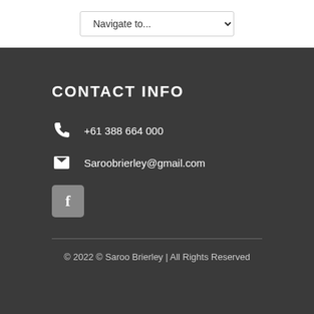Navigate to...
CONTACT INFO
+61 388 664 000
Saroobrierley@gmail.com
[Figure (logo): Facebook icon button, grey square with white F letter]
© 2022 © Saroo Brierley | All Rights Reserved